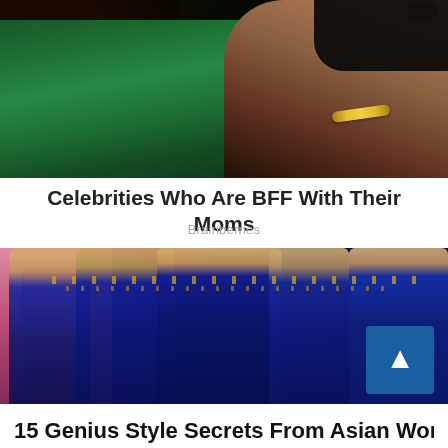[Figure (photo): Close-up photo of two people, one wearing a green outfit and a gold bracelet, embracing someone in a dark outfit. Dark hair visible at top.]
Celebrities Who Are BFF With Their Moms
Brainberries
[Figure (photo): Group of women dressed in elaborate Indian bridal attire with blue and gold lehengas, heavy gold jewelry including maang tikka, nose rings, and layered necklaces.]
15 Genius Style Secrets From Asian Women